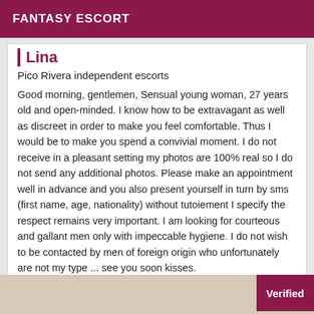FANTASY ESCORT
Lina
Pico Rivera independent escorts
Good morning, gentlemen, Sensual young woman, 27 years old and open-minded. I know how to be extravagant as well as discreet in order to make you feel comfortable. Thus I would be to make you spend a convivial moment. I do not receive in a pleasant setting my photos are 100% real so I do not send any additional photos. Please make an appointment well in advance and you also present yourself in turn by sms (first name, age, nationality) without tutoiement I specify the respect remains very important. I am looking for courteous and gallant men only with impeccable hygiene. I do not wish to be contacted by men of foreign origin who unfortunately are not my type ... see you soon kisses.
[Figure (photo): Bottom strip showing a partial background image with a verified badge in the bottom right corner]
Verified